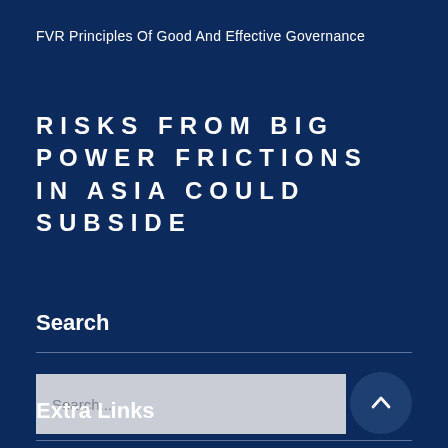FVR Principles Of Good And Effective Governance
RISKS FROM BIG POWER FRICTIONS IN ASIA COULD SUBSIDE
Search
Extra Links